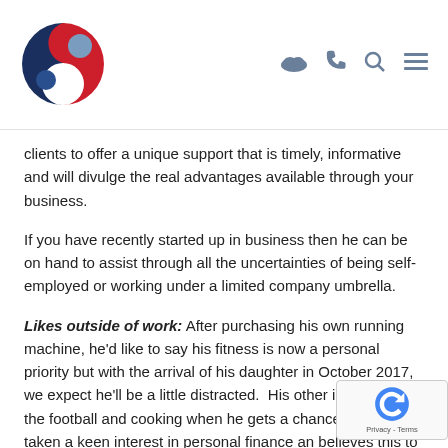Logo and navigation icons (cloud, phone, search, menu)
clients to offer a unique support that is timely, informative and will divulge the real advantages available through your business.
If you have recently started up in business then he can be on hand to assist through all the uncertainties of being self-employed or working under a limited company umbrella.
Likes outside of work: After purchasing his own running machine, he'd like to say his fitness is now a personal priority but with the arrival of his daughter in October 2017, we expect he'll be a little distracted.  His other interests are the football and cooking when he gets a chance.  H always taken a keen interest in personal finance an believes this to be a reason why he is so ambitious to